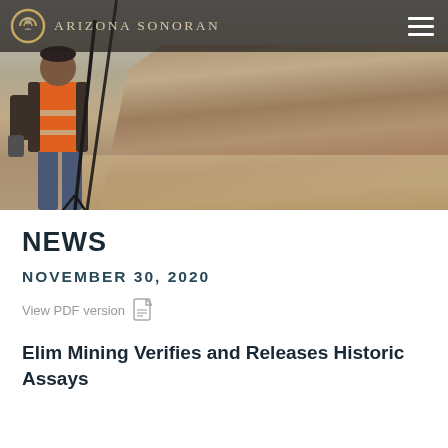[Figure (photo): Hero banner photo showing a person in an orange safety vest standing near surveying equipment at an open-cut mining site with rocky cliff faces in the background. Arizona Sonoran logo and hamburger menu overlay the top of the image.]
NEWS
NOVEMBER 30, 2020
View PDF version
Elim Mining Verifies and Releases Historic Assays